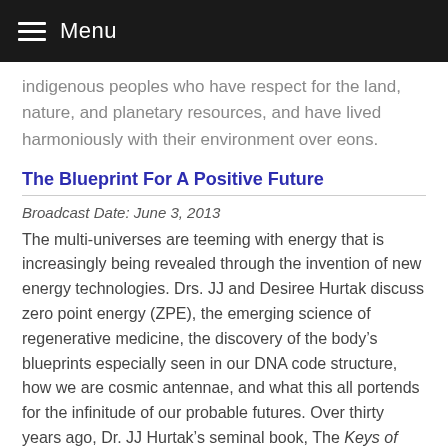Menu
indigenous peoples who have respect for the land, nature, and planetary resources, and have lived harmoniously with their environment over eons.
The Blueprint For A Positive Future
Broadcast Date: June 3, 2013
The multi-universes are teeming with energy that is increasingly being revealed through the invention of new energy technologies. Drs. JJ and Desiree Hurtak discuss zero point energy (ZPE), the emerging science of regenerative medicine, the discovery of the body’s blueprints especially seen in our DNA code structure, how we are cosmic antennae, and what this all portends for the infinitude of our probable futures. Over thirty years ago, Dr. JJ Hurtak’s seminal book, The Keys of Enoch®, contains extensive discourses on what